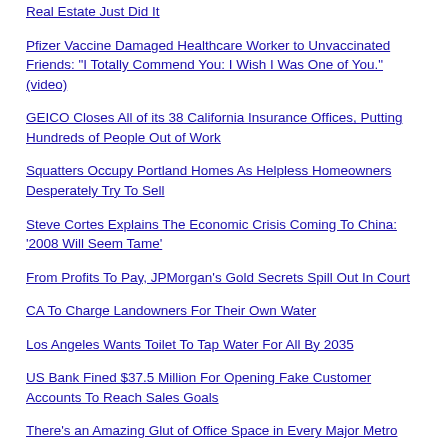Real Estate Just Did It
Pfizer Vaccine Damaged Healthcare Worker to Unvaccinated Friends: "I Totally Commend You: I Wish I Was One of You." (video)
GEICO Closes All of its 38 California Insurance Offices, Putting Hundreds of People Out of Work
Squatters Occupy Portland Homes As Helpless Homeowners Desperately Try To Sell
Steve Cortes Explains The Economic Crisis Coming To China: '2008 Will Seem Tame'
From Profits To Pay, JPMorgan's Gold Secrets Spill Out In Court
CA To Charge Landowners For Their Own Water
Los Angeles Wants Toilet To Tap Water For All By 2035
US Bank Fined $37.5 Million For Opening Fake Customer Accounts To Reach Sales Goals
There's an Amazing Glut of Office Space in Every Major Metro